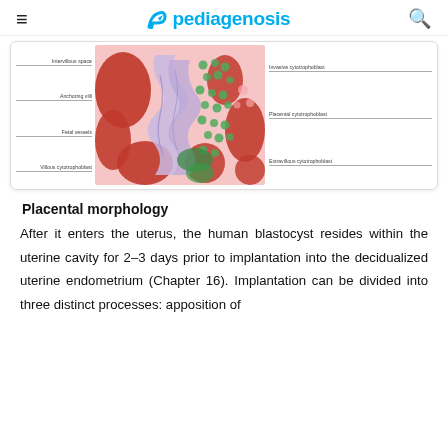pediagenosis
[Figure (illustration): Medical illustration showing placental morphology cross-section with labeled structures: intervillous space, anchoring villi, fetal vessels, villous cytotrophoblast on the left; invasive cytotrophoblast, placental cytotrophoblast, extravillous cytotrophoblast on the right. The image shows red maternal blood spaces, blue/purple villous structures, and green cytotrophoblast cells on a pink background.]
Placental morphology
After it enters the uterus, the human blastocyst resides within the uterine cavity for 2–3 days prior to implantation into the decidualized uterine endometrium (Chapter 16). Implantation can be divided into three distinct processes: apposition of